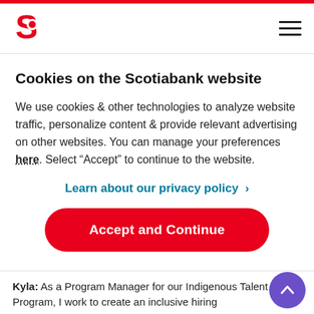[Figure (logo): Scotiabank red S logo]
Cookies on the Scotiabank website
We use cookies & other technologies to analyze website traffic, personalize content & provide relevant advertising on other websites. You can manage your preferences here. Select “Accept” to continue to the website.
Learn about our privacy policy ›
Accept and Continue
Kyla: As a Program Manager for our Indigenous Talent Program, I work to create an inclusive hiring